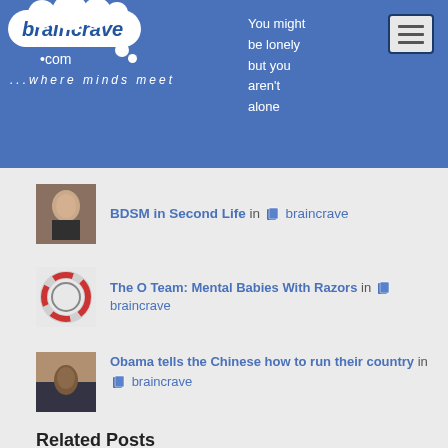[Figure (screenshot): Braincrave.com website header with cloud logo, tagline '...where minds meet', quote 'You might be lonely but you aren't alone', and hamburger menu button on blue background]
BDSM in Second Life in 📋 braincrave
The O Team: Mental Babies With Razors in 📋 braincrave
Obama tells the Chinese how to run their country in 📋 braincrave
Related Posts
Voluntary vs. coercive in 📋 braincrave
The ethics of competition and our obligations to each other in 📋 braincrave
The ethics of capitalism in 📋 braincrave